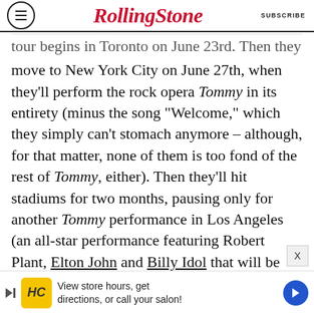RollingStone  SUBSCRIBE
tour begins in Toronto on June 23rd. Then they move to New York City on June 27th, when they'll perform the rock opera Tommy in its entirety (minus the song "Welcome," which they simply can't stomach anymore – although, for that matter, none of them is too fond of the rest of Tommy, either). Then they'll hit stadiums for two months, pausing only for another Tommy performance in Los Angeles (an all-star performance featuring Robert Plant, Elton John and Billy Idol that will be telecast on pay-perview cable television). They'll come home with about $30 million, maybe more, considering explosive ticket sales that have shocked everyone, including the W...
[Figure (other): Advertisement banner: HC logo with text 'View store hours, get directions, or call your salon!' and a blue arrow icon]